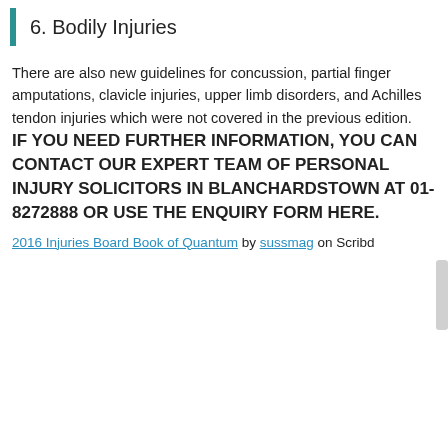6. Bodily Injuries
There are also new guidelines for concussion, partial finger amputations, clavicle injuries, upper limb disorders, and Achilles tendon injuries which were not covered in the previous edition.
IF YOU NEED FURTHER INFORMATION, YOU CAN CONTACT OUR EXPERT TEAM OF PERSONAL INJURY SOLICITORS IN BLANCHARDSTOWN AT 01-8272888 OR USE THE ENQUIRY FORM HERE.
2016 Injuries Board Book of Quantum by sussmag on Scribd